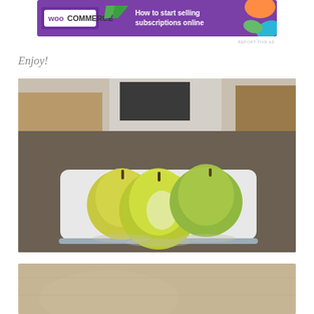[Figure (other): WooCommerce advertisement banner: purple background with WooCommerce logo on left and text 'How to start selling subscriptions online' on right with decorative shapes]
REPORT THIS AD
Enjoy!
[Figure (photo): Three green/yellow apples sitting on a white cutting board on a gray patterned tablecloth, with a blurred room background]
[Figure (photo): Partial photo at bottom edge of page, appears to show a close-up of an animal on a patterned surface]